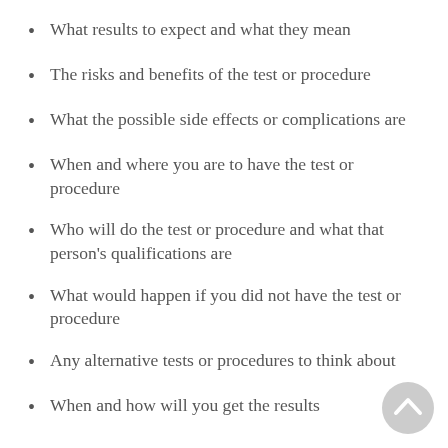What results to expect and what they mean
The risks and benefits of the test or procedure
What the possible side effects or complications are
When and where you are to have the test or procedure
Who will do the test or procedure and what that person's qualifications are
What would happen if you did not have the test or procedure
Any alternative tests or procedures to think about
When and how will you get the results